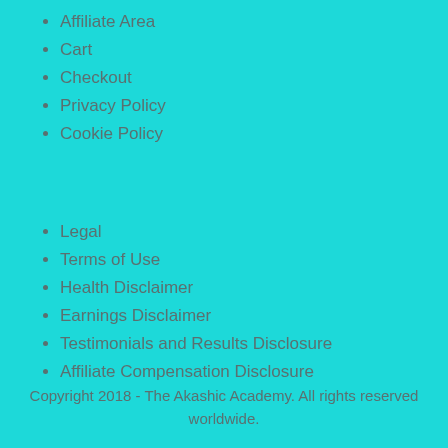Affiliate Area
Cart
Checkout
Privacy Policy
Cookie Policy
Legal
Terms of Use
Health Disclaimer
Earnings Disclaimer
Testimonials and Results Disclosure
Affiliate Compensation Disclosure
Copyright 2018 - The Akashic Academy. All rights reserved worldwide.